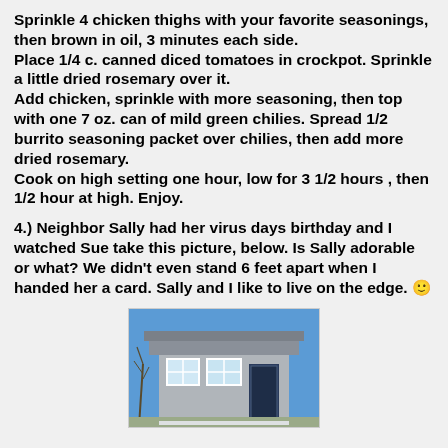Sprinkle 4 chicken thighs with your favorite seasonings, then brown in oil, 3 minutes each side.
Place 1/4 c. canned diced tomatoes in crockpot. Sprinkle a little dried rosemary over it.
Add chicken, sprinkle with more seasoning, then top with one 7 oz. can of mild green chilies. Spread 1/2 burrito seasoning packet over chilies, then add more dried rosemary.
Cook on high setting one hour, low for 3 1/2 hours , then 1/2 hour at high. Enjoy.
4.) Neighbor Sally had her virus days birthday and I watched Sue take this picture, below. Is Sally adorable or what? We didn't even stand 6 feet apart when I handed her a card. Sally and I like to live on the edge. 🙂
[Figure (photo): Photo of a house exterior with gray siding, white trim windows, and a blue sky with bare trees visible]